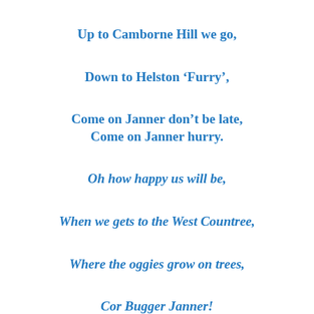Up to Camborne Hill we go,
Down to Helston ‘Furry’,
Come on Janner don’t be late,
Come on Janner hurry.
Oh how happy us will be,
When we gets to the West Countree,
Where the oggies grow on trees,
Cor Bugger Janner!